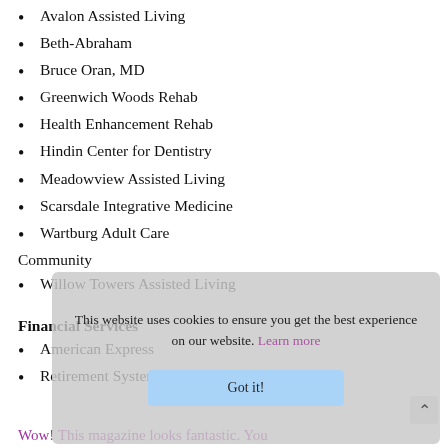Avalon Assisted Living
Beth-Abraham
Bruce Oran, MD
Greenwich Woods Rehab
Health Enhancement Rehab
Hindin Center for Dentistry
Meadowview Assisted Living
Scarsdale Integrative Medicine
Wartburg Adult Care Community
Willow Towers Assisted Living
Financial Services
American Express
Retirement System Group
Wow! This magazine looks fantastic. You